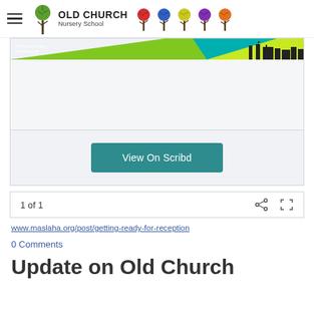OLD CHURCH Nursery School
[Figure (screenshot): Document preview showing a Hackney borough banner with teal/green/lime triangle design and London skyline silhouette]
View On Scribd
1 of 1
www.maslaha.org/post/getting-ready-for-reception
0 Comments
Update on Old Church